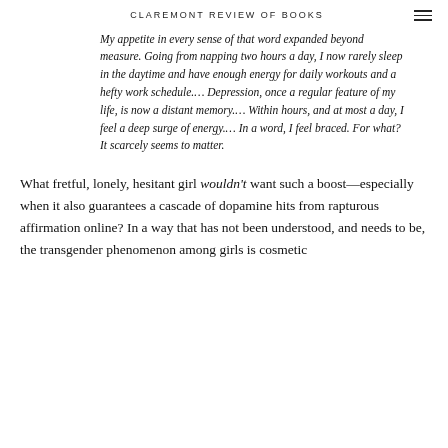CLAREMONT REVIEW OF BOOKS
My appetite in every sense of that word expanded beyond measure. Going from napping two hours a day, I now rarely sleep in the daytime and have enough energy for daily workouts and a hefty work schedule.... Depression, once a regular feature of my life, is now a distant memory.... Within hours, and at most a day, I feel a deep surge of energy.... In a word, I feel braced. For what? It scarcely seems to matter.
What fretful, lonely, hesitant girl wouldn't want such a boost—especially when it also guarantees a cascade of dopamine hits from rapturous affirmation online? In a way that has not been understood, and needs to be, the transgender phenomenon among girls is cosmetic